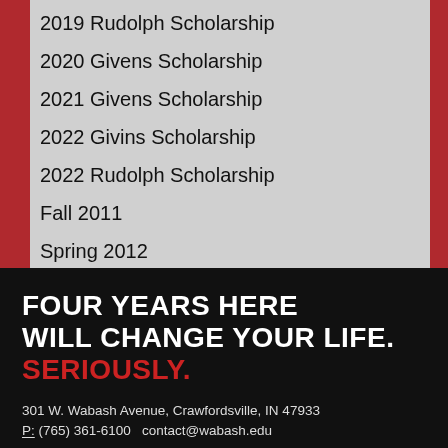2019 Rudolph Scholarship
2020 Givens Scholarship
2021 Givens Scholarship
2022 Givins Scholarship
2022 Rudolph Scholarship
Fall 2011
Spring 2012
Spring 2013
Spring 2014
Study Abroad
FOUR YEARS HERE WILL CHANGE YOUR LIFE. SERIOUSLY.
301 W. Wabash Avenue, Crawfordsville, IN 47933
P: (765) 361-6100   contact@wabash.edu